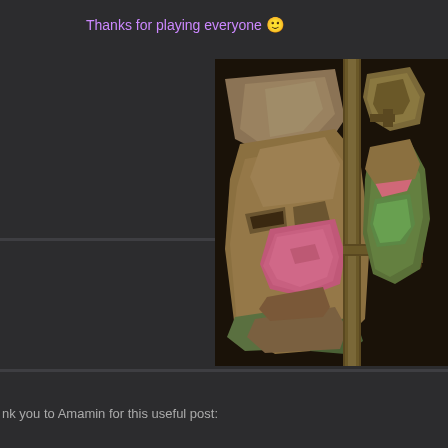Thanks for playing everyone 🙂
[Figure (photo): A fragmented sculpture of a human face with earthy tones, pink and green patches, mounted on a metal frame/bracket. The face appears cracked and aged, resembling a weathered bust or archaeological artifact.]
nk you to Amamin for this useful post: